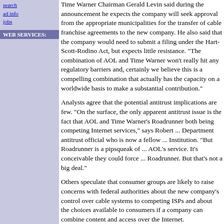search
ad info
jobs
WEB SERVICES:
Time Warner Chairman Gerald Levin said during the announcement he expects the company will seek approval from the appropriate municipalities for the transfer of cable franchise agreements to the new company. He also said that the company would need to submit a filing under the Hart-Scott-Rodino Act, but expects little resistance. "The combination of AOL and Time Warner won't really hit any regulatory barriers and, certainly, we believe this is a compelling combination that actually has the capacity on a worldwide basis to make a substantial contribution."
Analysts agree that the potential antitrust implications are few. "On the surface, the only apparent antitrust issue is the fact that AOL and Time Warner's Roadrunner both being competing Internet services," says Robert ... Department antitrust official who is now a fellow ... Institution. "But Roadrunner is a pipsqueak of ... AOL's service. It's conceivable they could force... Roadrunner. But that's not a big deal."
Others speculate that consumer groups are like... federal authorities about the new company's co... cable systems to competing ISPs and about the... consumers if a company can combine content a... Internet.